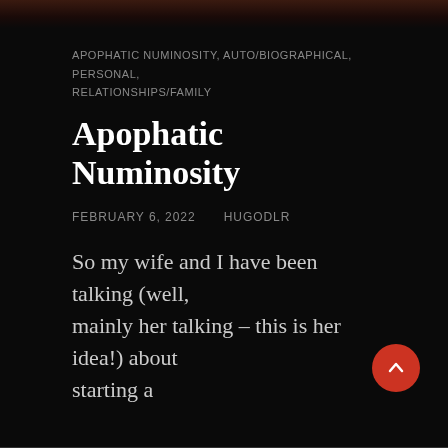[Figure (photo): Dark partially visible image at the top of the page, appears to be a header image fading into the black background]
APOPHATIC NUMINOSITY, AUTO/BIOGRAPHICAL, PERSONAL, RELATIONSHIPS/FAMILY
Apophatic Numinosity
FEBRUARY 6, 2022    HUGODLR
So my wife and I have been talking (well, mainly her talking – this is her idea!) about starting a
CONTINUE READING